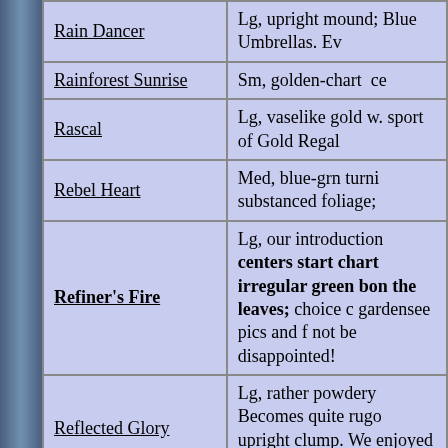| Name | Description |
| --- | --- |
| Rain Dancer | Lg, upright mound; Blue Umbrellas. Ev |
| Rainforest Sunrise | Sm, golden-chart ce |
| Rascal | Lg, vaselike gold w. sport of Gold Regal |
| Rebel Heart | Med, blue-grn turni substanced foliage; |
| Refiner's Fire | Lg, our introduction centers start charte irregular green bon the leaves; choice c gardensee pics and f not be disappointed! |
| Reflected Glory | Lg, rather powdery Becomes quite rugo upright clump. We enjoyed its presence |
| Regal Rhubarb O.S. | Med, dark green wi boat shaped leaves; |
| Regal Splendor | Lg, 'Krossa Regal' v here; an exemplary s |
| Regalia | L, upright vaselike c leaves with marbled |